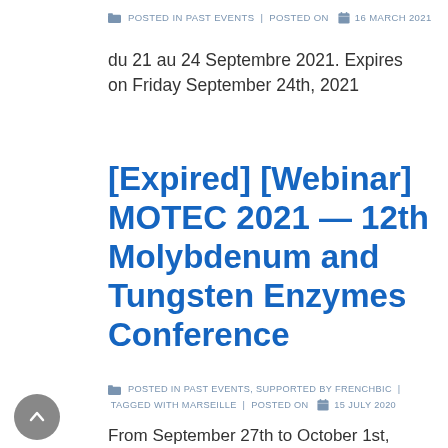POSTED IN PAST EVENTS  |  POSTED ON  16 MARCH 2021
du 21 au 24 Septembre 2021. Expires on Friday September 24th, 2021
[Expired] [Webinar] MOTEC 2021 — 12th Molybdenum and Tungsten Enzymes Conference
POSTED IN PAST EVENTS, SUPPORTED BY FRENCHBIC  |  TAGGED WITH MARSEILLE  |  POSTED ON  15 JULY 2020
From September 27th to October 1st, 2021,